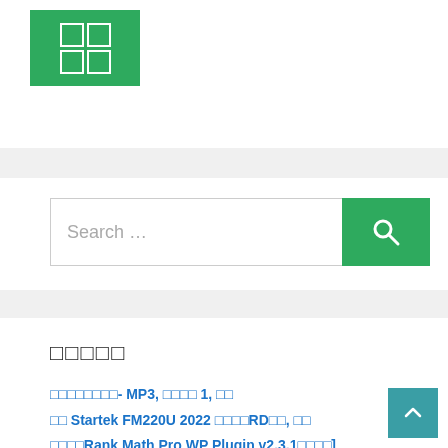[Figure (logo): Green square logo with 4 white outlined squares in a 2x2 grid]
[Figure (screenshot): Search bar with placeholder text 'Search ...' and a green search button with magnifying glass icon]
□□□□□
□□□□□□□□- MP3, □□□□ 1, □□
□□ Startek FM220U 2022 □□□□RD□□, □□
□□□□Rank Math Pro WP Plugin v2.3.1□□□□]